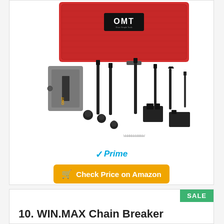[Figure (photo): OMT chain breaker tool kit with red carrying case, grey chain breaker tool head, multiple black pins/bolts, small black knobs, and a spring — all displayed on white background]
✓Prime
Check Price on Amazon
SALE
10. WIN.MAX Chain Breaker